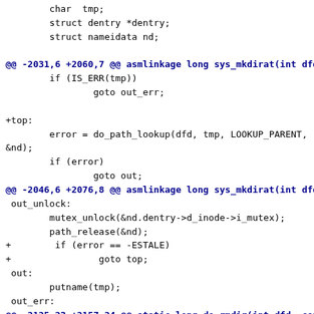Code diff showing changes to sys_mkdirat and do_rmdir functions in Linux kernel source